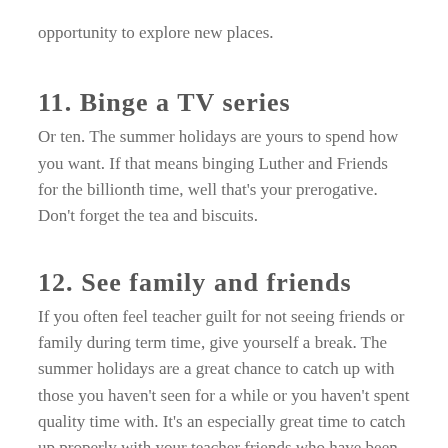opportunity to explore new places.
11.  Binge a TV series
Or ten. The summer holidays are yours to spend how you want. If that means binging Luther and Friends for the billionth time, well that’s your prerogative. Don’t forget the tea and biscuits.
12.  See family and friends
If you often feel teacher guilt for not seeing friends or family during term time, give yourself a break. The summer holidays are a great chance to catch up with those you haven’t seen for a while or you haven’t spent quality time with. It’s an especially great time to catch up properly with your teacher friends who have been just as